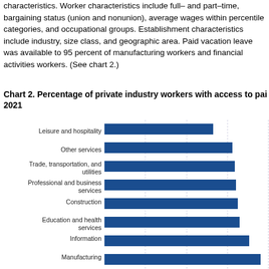characteristics. Worker characteristics include full– and part–time, bargaining status (union and nonunion), average wages within percentile categories, and occupational groups. Establishment characteristics include industry, size class, and geographic area. Paid vacation leave was available to 95 percent of manufacturing workers and financial activities workers. (See chart 2.)
Chart 2. Percentage of private industry workers with access to paid vacation leave, 2021
[Figure (bar-chart): Chart 2. Percentage of private industry workers with access to paid vacation leave, 2021]